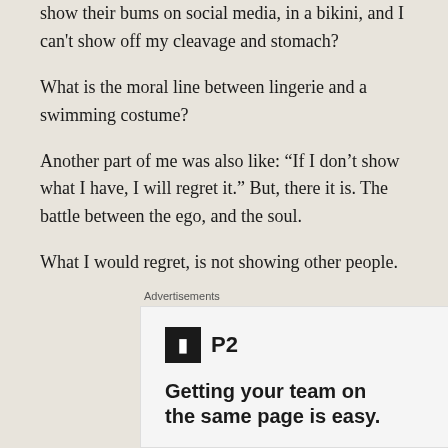show their bums on social media, in a bikini, and I can't show off my cleavage and stomach?
What is the moral line between lingerie and a swimming costume?
Another part of me was also like: “If I don’t show what I have, I will regret it.” But, there it is. The battle between the ego, and the soul.
What I would regret, is not showing other people.
Advertisements
[Figure (other): Advertisement for P2 product with logo icon and headline text 'Getting your team on the same page is easy.']